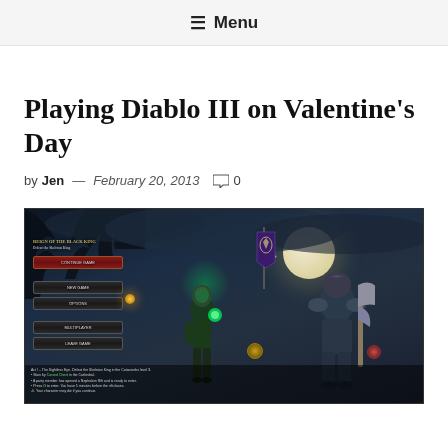≡ Menu
Playing Diablo III on Valentine's Day
by Jen — February 20, 2013  0
[Figure (screenshot): Screenshot of Diablo III game showing two armored characters (a female character with green glowing orb and a large warrior with an axe) standing in a dark, moonlit environment. A UI panel on the left shows the 'Reign of the Black King' quest with navigation buttons. The scene has a dark fantasy atmosphere with trees silhouetted against a cloudy sky and a large moon.]